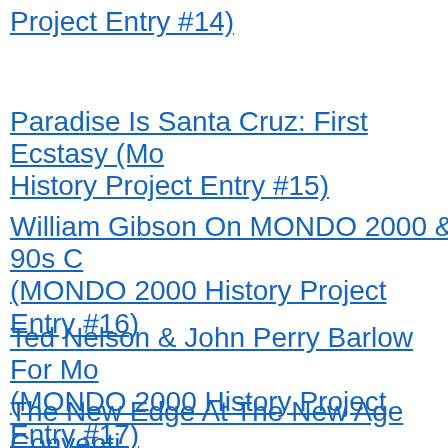Project Entry #14)
Paradise Is Santa Cruz: First Ecstasy (MONDO 2000 History Project Entry #15)
William Gibson On MONDO 2000 & 90s C... (MONDO 2000 History Project Entry #16)
Ted Nelson & John Perry Barlow For MO... (MONDO 2000 History Project Entry #17)
R.U. A Cyberpunk? Well, Punk? R.U.? (M... History Project Entry # 18
The New Edge At The New Age Conventi...